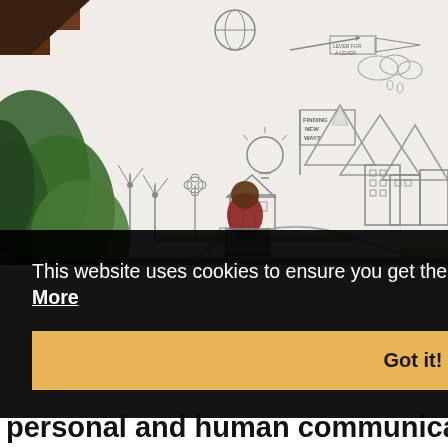[Figure (photo): Office/workspace photo showing a person sitting at a desk with a laptop in front of a large illustrated wall mural. The mural contains doodle-style drawings of windmills, mountains, houses, buildings, a lightbulb, and text reading 'FINDING NEW WAYS'. Green plants are visible in the foreground.]
This website uses cookies to ensure you get the best experience on our website. Learn More
Got it!
personal and human communication versus